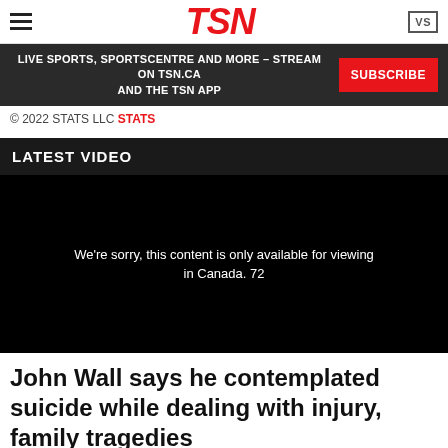[Figure (logo): TSN logo in red italic bold text centered in navigation header]
LIVE SPORTS, SPORTSCENTRE AND MORE – STREAM ON TSN.CA AND THE TSN APP
SUBSCRIBE
© 2022 STATS LLC STATS
LATEST VIDEO
[Figure (screenshot): Black video player with white text: We're sorry, this content is only available for viewing in Canada. 72]
John Wall says he contemplated suicide while dealing with injury, family tragedies